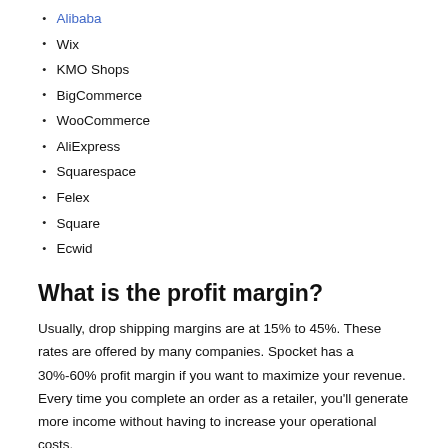Alibaba
Wix
KMO Shops
BigCommerce
WooCommerce
AliExpress
Squarespace
Felex
Square
Ecwid
What is the profit margin?
Usually, drop shipping margins are at 15% to 45%. These rates are offered by many companies. Spocket has a 30%-60% profit margin if you want to maximize your revenue. Every time you complete an order as a retailer, you'll generate more income without having to increase your operational costs.